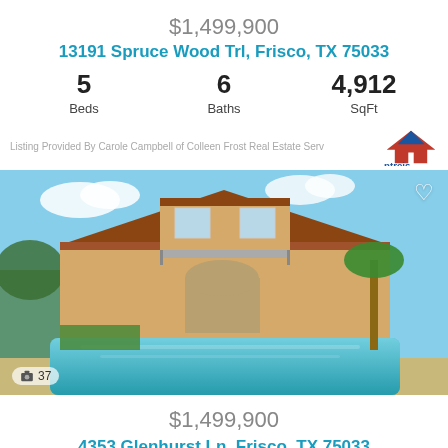$1,499,900
13191 Spruce Wood Trl, Frisco, TX 75033
5 Beds  6 Baths  4,912 SqFt
Listing Provided By Carole Campbell of Colleen Frost Real Estate Serv
[Figure (photo): Luxury home with pool in Frisco TX, Mediterranean-style two-story with terracotta roof, large swimming pool in foreground]
$1,499,900
4353 Glenhurst Ln, Frisco, TX 75033